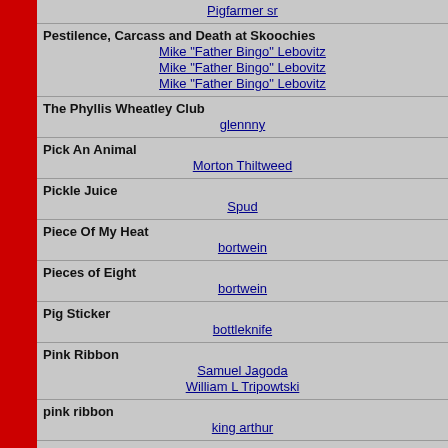Pestilence, Carcass and Death at Skoochies
  Mike "Father Bingo" Lebovitz
  Mike "Father Bingo" Lebovitz
  Mike "Father Bingo" Lebovitz
The Phyllis Wheatley Club
  glennny
Pick An Animal
  Morton Thiltweed
Pickle Juice
  Spud
Piece Of My Heat
  bortwein
Pieces of Eight
  bortwein
Pig Sticker
  bottleknife
Pink Ribbon
  Samuel Jagoda
  William L Tripowtski
pink ribbon
  king arthur